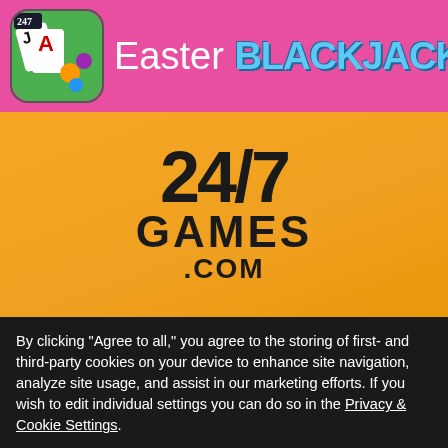[Figure (logo): Easter Blackjack app icon and title banner on pink background. Icon shows playing cards with a blackjack game logo. Title reads 'Easter BLACKJACK' in white and cyan text.]
[Figure (logo): 24/7 Games .com logo in bold black text on orange/yellow gradient background]
By clicking "Agree to all," you agree to the storing of first- and third-party cookies on your device to enhance site navigation, analyze site usage, and assist in our marketing efforts. If you wish to edit individual settings you can do so in the Privacy & Cookie Settings.
✓ Agree to all